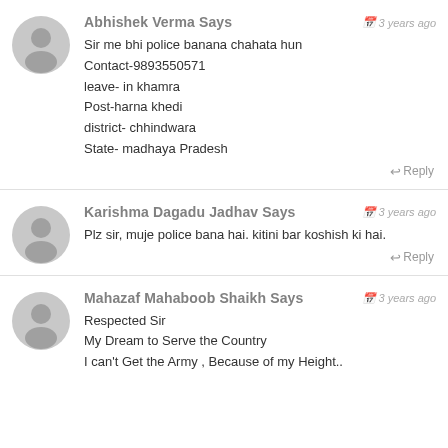Abhishek Verma Says — 3 years ago
Sir me bhi police banana chahata hun
Contact-9893550571
leave- in khamra
Post-harna khedi
district- chhindwara
State- madhaya Pradesh
Reply
Karishma Dagadu Jadhav Says — 3 years ago
Plz sir, muje police bana hai. kitini bar koshish ki hai.
Reply
Mahazaf Mahaboob Shaikh Says — 3 years ago
Respected Sir
My Dream to Serve the Country
I can't Get the Army , Because of my Height..